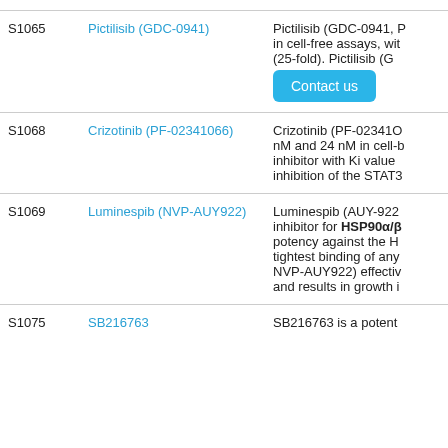| ID | Name | Description |
| --- | --- | --- |
| S1065 | Pictilisib (GDC-0941) | Pictilisib (GDC-0941, P... in cell-free assays, wit... (25-fold). Pictilisib (G... [Contact us] |
| S1068 | Crizotinib (PF-02341066) | Crizotinib (PF-02341O... nM and 24 nM in cell-b... inhibitor with Ki value... inhibition of the STAT3... |
| S1069 | Luminespib (NVP-AUY922) | Luminespib (AUY-922... inhibitor for HSP90α/β... potency against the H... tightest binding of any... NVP-AUY922) effectiv... and results in growth i... |
| S1075 | SB216763 | SB216763 is a potent... |